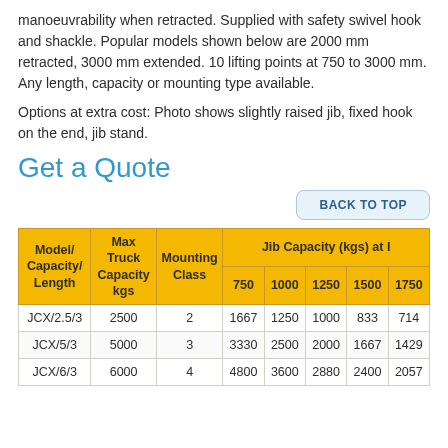manoeuvrability when retracted. Supplied with safety swivel hook and shackle. Popular models shown below are 2000 mm retracted, 3000 mm extended. 10 lifting points at 750 to 3000 mm. Any length, capacity or mounting type available.
Options at extra cost: Photo shows slightly raised jib, fixed hook on the end, jib stand.
Get a Quote
BACK TO TOP
| Model/ Capacity/ Length | Max Truck Capacity kgs | Mounting Class | 750 | 1000 | 1250 | 1500 | 1750 |
| --- | --- | --- | --- | --- | --- | --- | --- |
| JCX/2.5/3 | 2500 | 2 | 1667 | 1250 | 1000 | 833 | 714 |
| JCX/5/3 | 5000 | 3 | 3330 | 2500 | 2000 | 1667 | 1429 |
| JCX/6/3 | 6000 | 4 | 4800 | 3600 | 2880 | 2400 | 2057 |